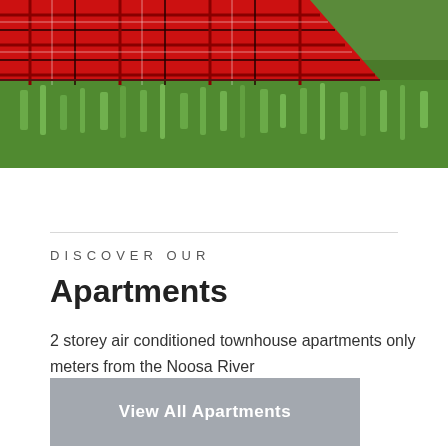[Figure (photo): A red tartan/plaid picnic blanket laid on lush green grass, photographed from close up showing the corner of the blanket with grass surrounding it.]
DISCOVER OUR
Apartments
2 storey air conditioned townhouse apartments only meters from the Noosa River
View All Apartments